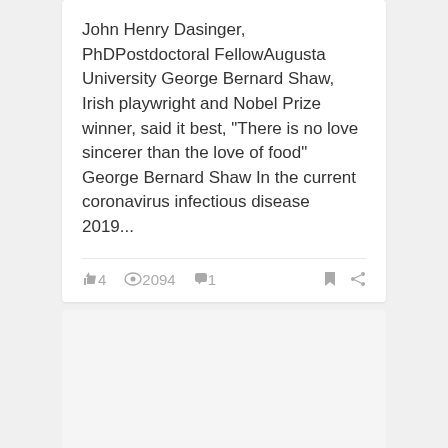John Henry Dasinger, PhDPostdoctoral FellowAugusta University George Bernard Shaw, Irish playwright and Nobel Prize winner, said it best,  "There is no love sincerer than the love of food" George Bernard Shaw In the current coronavirus infectious disease 2019...
4  2094  1